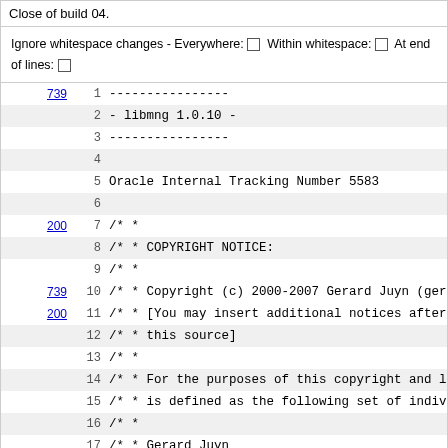Close of build 04.
Ignore whitespace changes - Everywhere: □ Within whitespace: □ At end of lines: □
| rev | line | code |
| --- | --- | --- |
| 739 | 1 | ---------------- |
|  | 2 | - libmng 1.0.10 - |
|  | 3 | ---------------- |
|  | 4 |  |
|  | 5 | Oracle Internal Tracking Number 5583 |
|  | 6 |  |
| 200 | 7 | /* * |
|  | 8 | /* * COPYRIGHT NOTICE: |
|  | 9 | /* * |
| 739 | 10 | /* * Copyright (c) 2000-2007 Gerard Juyn (gera |
| 200 | 11 | /* * [You may insert additional notices after |
|  | 12 | /* *   this source] |
|  | 13 | /* * |
|  | 14 | /* * For the purposes of this copyright and li |
|  | 15 | /* * is defined as the following set of indivi |
|  | 16 | /* * |
|  | 17 | /* *      Gerard Juyn |
|  | 18 | /* *      Glenn Randers-Pehrson |
|  | 19 | /* * |